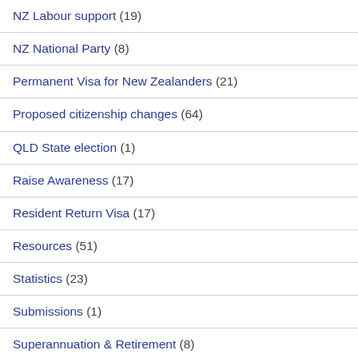NZ Labour support (19)
NZ National Party (8)
Permanent Visa for New Zealanders (21)
Proposed citizenship changes (64)
QLD State election (1)
Raise Awareness (17)
Resident Return Visa (17)
Resources (51)
Statistics (23)
Submissions (1)
Superannuation & Retirement (8)
Trans-Tasman talks (76)